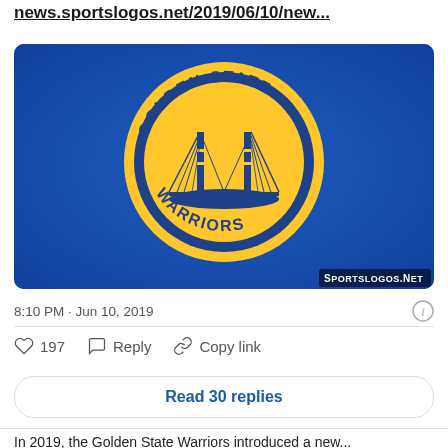news.sportslogos.net/2019/06/10/new...
[Figure (logo): Golden State Warriors logo on blue background — circular yellow logo with 'GOLDEN STATE' arched at top, 'WARRIORS' arched at bottom, and a stylized Golden Gate Bridge in the center circle. SportsLogos.Net watermark in bottom right.]
8:10 PM · Jun 10, 2019
197  Reply  Copy link
Read 30 replies
In 2019, the Golden State Warriors introduced a new...